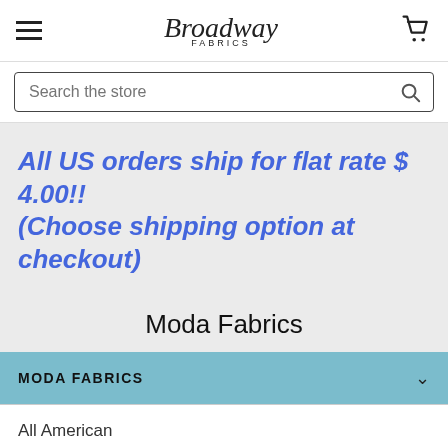Broadway Fabrics
Search the store
All US orders ship for flat rate $ 4.00!! (Choose shipping option at checkout)
Moda Fabrics
MODA FABRICS
All American
Christmas collections